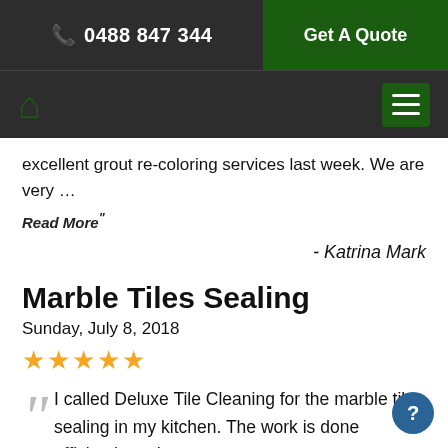📞 0488 847 344 | Get A Quote
excellent grout re-coloring services last week. We are very ...
Read More"
- Katrina Mark
Marble Tiles Sealing
Sunday, July 8, 2018
★★★★★
"I called Deluxe Tile Cleaning for the marble tile sealing in my kitchen. The work is done efficiently and...